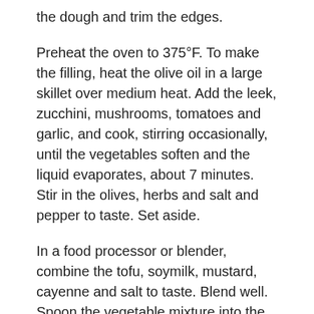the dough and trim the edges.
Preheat the oven to 375°F. To make the filling, heat the olive oil in a large skillet over medium heat. Add the leek, zucchini, mushrooms, tomatoes and garlic, and cook, stirring occasionally, until the vegetables soften and the liquid evaporates, about 7 minutes. Stir in the olives, herbs and salt and pepper to taste. Set aside.
In a food processor or blender, combine the tofu, soymilk, mustard, cayenne and salt to taste. Blend well. Spoon the vegetable mixture into the crust and sprinkle with the Parmesan-style cheese, if using. Pour the tofu mixture over all, distributing it evenly.
Bake until the filling is set and the top is golden brown, about 45 minutes. Let it rest for 5 minutes before cutting.